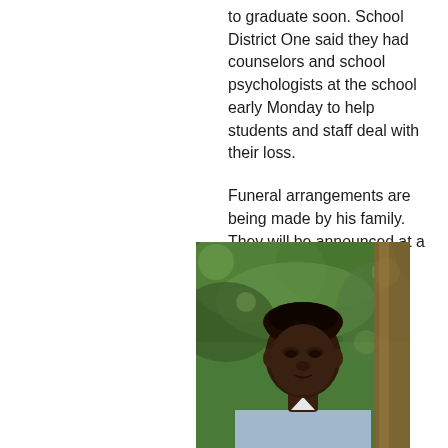to graduate soon. School District One said they had counselors and school psychologists at the school early Monday to help students and staff deal with their loss.

Funeral arrangements are being made by his family. They will be announced at a later time.
[Figure (photo): Portrait photograph of a young Black man with short curly hair, wearing a light blue shirt or jacket, photographed outdoors with green trees and bokeh background.]